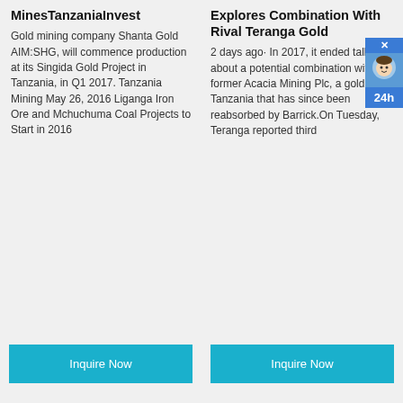MinesTanzaniaInvest
Gold mining company Shanta Gold AIM:SHG, will commence production at its Singida Gold Project in Tanzania, in Q1 2017. Tanzania Mining May 26, 2016 Liganga Iron Ore and Mchuchuma Coal Projects to Start in 2016
Explores Combination With Rival Teranga Gold
2 days ago· In 2017, it ended talks about a potential combination with the former Acacia Mining Plc, a gold miner Tanzania that has since been reabsorbed by Barrick.On Tuesday, Teranga reported third
[Figure (illustration): Small badge widget with an X button, cartoon character icon, and '24h' label in blue]
Inquire Now
Inquire Now